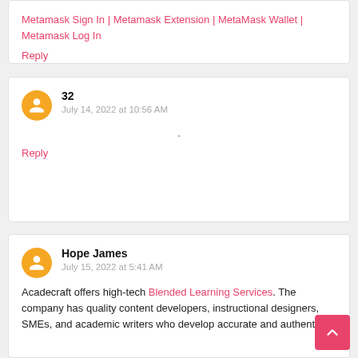Metamask Sign In | Metamask Extension | MetaMask Wallet | Metamask Log In
Reply
32
July 14, 2022 at 10:56 AM
.
Reply
Hope James
July 15, 2022 at 5:41 AM
Acadecraft offers high-tech Blended Learning Services. The company has quality content developers, instructional designers, SMEs, and academic writers who develop accurate and authentic